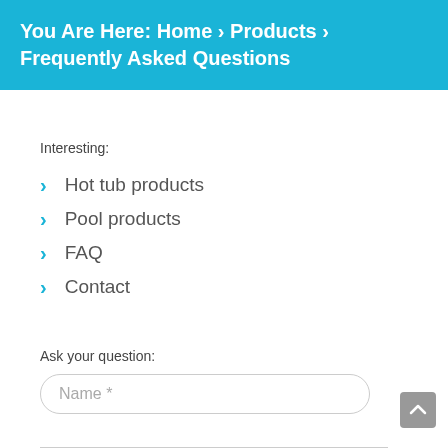You Are Here: Home › Products › Frequently Asked Questions
Interesting:
Hot tub products
Pool products
FAQ
Contact
Ask your question:
Name *